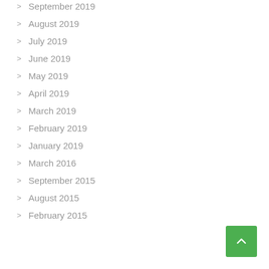September 2019
August 2019
July 2019
June 2019
May 2019
April 2019
March 2019
February 2019
January 2019
March 2016
September 2015
August 2015
February 2015